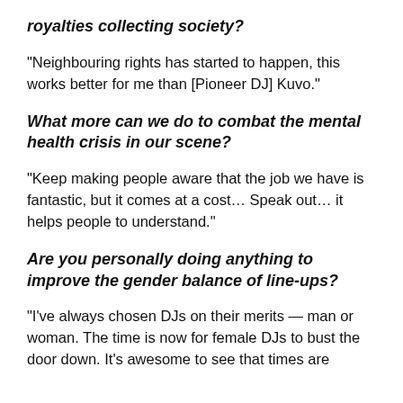royalties collecting society?
“Neighbouring rights has started to happen, this works better for me than [Pioneer DJ] Kuvo.”
What more can we do to combat the mental health crisis in our scene?
“Keep making people aware that the job we have is fantastic, but it comes at a cost… Speak out… it helps people to understand.”
Are you personally doing anything to improve the gender balance of line-ups?
“I’ve always chosen DJs on their merits — man or woman. The time is now for female DJs to bust the door down. It’s awesome to see that times are